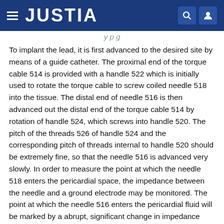JUSTIA
To implant the lead, it is first advanced to the desired site by means of a guide catheter. The proximal end of the torque cable 514 is provided with a handle 522 which is initially used to rotate the torque cable to screw coiled needle 518 into the tissue. The distal end of needle 516 is then advanced out the distal end of the torque cable 514 by rotation of handle 524, which screws into handle 520. The pitch of the threads 526 of handle 524 and the corresponding pitch of threads internal to handle 520 should be extremely fine, so that the needle 516 is advanced very slowly. In order to measure the point at which the needle 518 enters the pericardial space, the impedance between the needle and a ground electrode may be monitored. The point at which the needle 516 enters the pericardial fluid will be marked by a abrupt, significant change in impedance (30% or more). At this